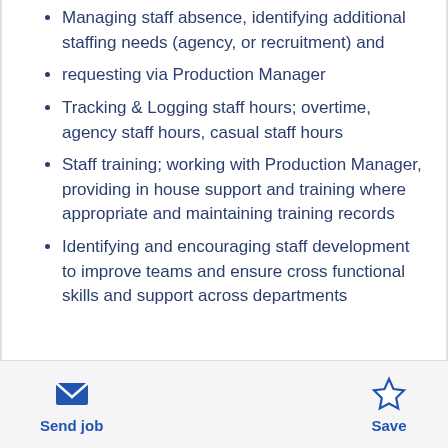Managing staff absence, identifying additional staffing needs (agency, or recruitment) and
requesting via Production Manager
Tracking & Logging staff hours; overtime, agency staff hours, casual staff hours
Staff training; working with Production Manager, providing in house support and training where appropriate and maintaining training records
Identifying and encouraging staff development to improve teams and ensure cross functional skills and support across departments
Send job | Save